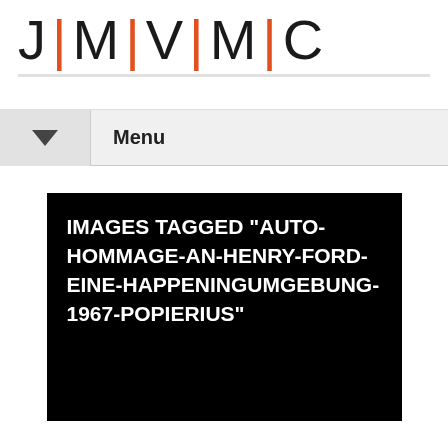J|M|V|M|C
Menu
IMAGES TAGGED "AUTO-HOMMAGE-AN-HENRY-FORD-EINE-HAPPENINGUMGEBUNG-1967-POPIERIUS"